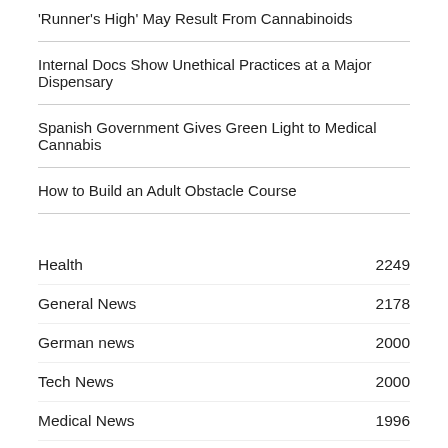'Runner's High' May Result From Cannabinoids
Internal Docs Show Unethical Practices at a Major Dispensary
Spanish Government Gives Green Light to Medical Cannabis
How to Build an Adult Obstacle Course
| Category | Count |
| --- | --- |
| Health | 2249 |
| General News | 2178 |
| German news | 2000 |
| Tech News | 2000 |
| Medical News | 1996 |
| Lifestyle News | 1901 |